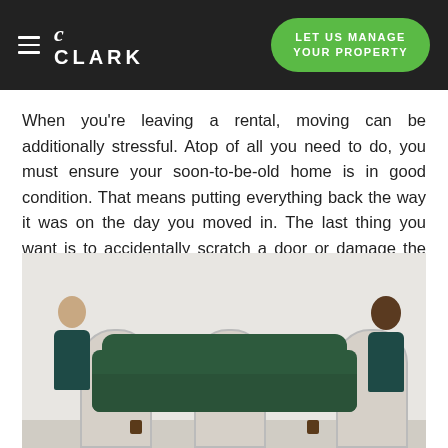Clark — LET US MANAGE YOUR PROPERTY
When you're leaving a rental, moving can be additionally stressful. Atop of all you need to do, you must ensure your soon-to-be-old home is in good condition. That means putting everything back the way it was on the day you moved in. The last thing you want is to accidentally scratch a door or damage the floors.
[Figure (photo): Two movers carrying a dark green tufted sofa in an empty white room with arched windows.]